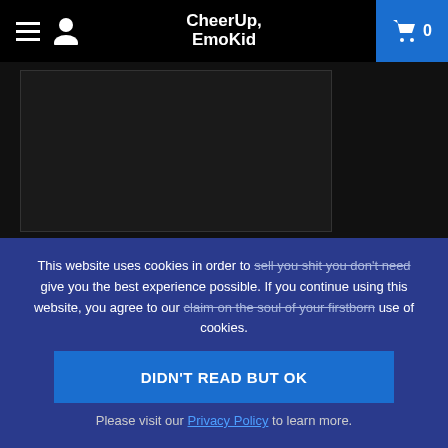CheerUp, EmoKid navigation bar with hamburger menu, user icon, logo, and cart button showing 0
[Figure (screenshot): Dark website page background with profile section showing avatar and username 'Fryman']
This website uses cookies in order to sell you shit you don't need give you the best experience possible. If you continue using this website, you agree to our claim on the soul of your firstborn use of cookies.
DIDN'T READ BUT OK
Please visit our Privacy Policy to learn more.